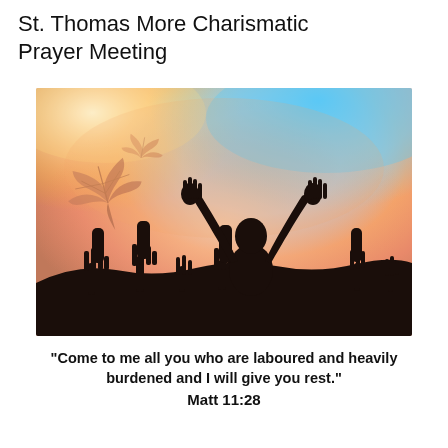St. Thomas More Charismatic Prayer Meeting
[Figure (photo): Silhouette of a person with arms raised in worship/praise against a colorful sunset sky with orange, pink, blue and warm tones, with autumn leaves visible. Other silhouetted hands raised in the foreground crowd.]
“Come to me all you who are laboured and heavily burdened and I will give you rest.”
Matt 11:28